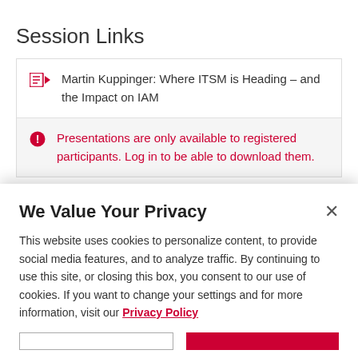Session Links
Martin Kuppinger: Where ITSM is Heading – and the Impact on IAM
Presentations are only available to registered participants. Log in to be able to download them.
We Value Your Privacy
This website uses cookies to personalize content, to provide social media features, and to analyze traffic. By continuing to use this site, or closing this box, you consent to our use of cookies. If you want to change your settings and for more information, visit our Privacy Policy